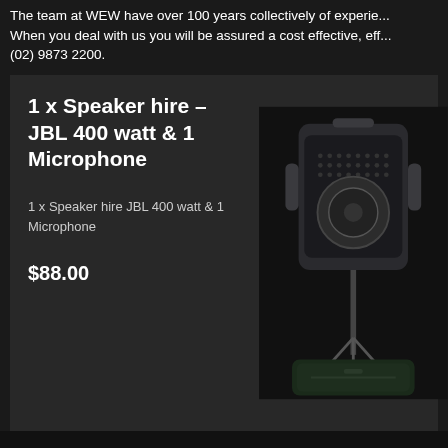The team at WEW have over 100 years collectively of experience. When you deal with us you will be assured a cost effective, efficient service. Call us on (02) 9873 2200.
1 x Speaker hire – JBL 400 watt & 1 Microphone
1 x Speaker hire JBL 400 watt & 1 Microphone
$88.00
[Figure (photo): JBL 400 watt speaker on a tripod stand with a black carry bag at the base, against a dark background.]